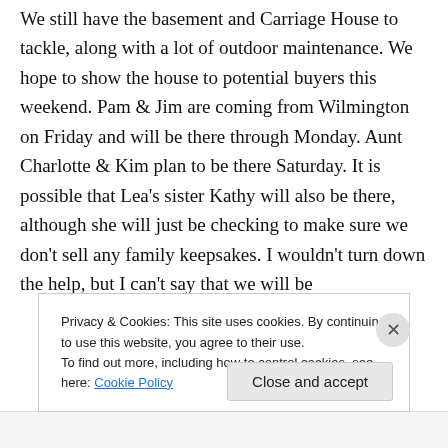We still have the basement and Carriage House to tackle, along with a lot of outdoor maintenance. We hope to show the house to potential buyers this weekend. Pam & Jim are coming from Wilmington on Friday and will be there through Monday. Aunt Charlotte & Kim plan to be there Saturday. It is possible that Lea's sister Kathy will also be there, although she will just be checking to make sure we don't sell any family keepsakes. I wouldn't turn down the help, but I can't say that we will be
Privacy & Cookies: This site uses cookies. By continuing to use this website, you agree to their use.
To find out more, including how to control cookies, see here: Cookie Policy
Close and accept